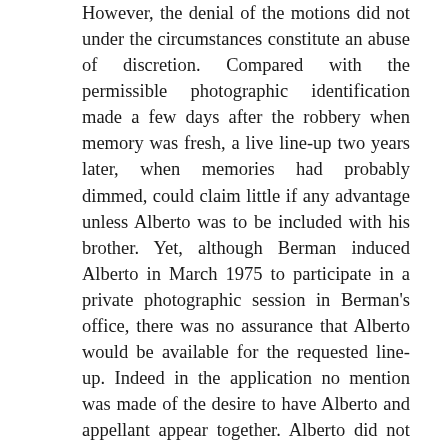However, the denial of the motions did not under the circumstances constitute an abuse of discretion. Compared with the permissible photographic identification made a few days after the robbery when memory was fresh, a live line-up two years later, when memories had probably dimmed, could claim little if any advantage unless Alberto was to be included with his brother. Yet, although Berman induced Alberto in March 1975 to participate in a private photographic session in Berman's office, there was no assurance that Alberto would be available for the requested line-up. Indeed in the application no mention was made of the desire to have Alberto and appellant appear together. Alberto did not attend the trial and the defense appears to have made little effort to insure his presence.6 Furthermore, in view of the appellant's marked change in appearance since the time of the robbery, it is doubtful whether any significance could have been attached to a witness' inability to identify him two years later. In any event all of the major witnesses (Bolla, Romero and Jackson), when confronted with photographs of Alberto, appellant and others, positively identified appellant's photograph as that of the robber. The jury also had access to the series of bank surveillance photographs, including many facial shots of the robber at close range, against which to compare the physical appearance of appellant and the photos of Alberto and appellant. A close scrutiny of the photographs makes clear that the person in the